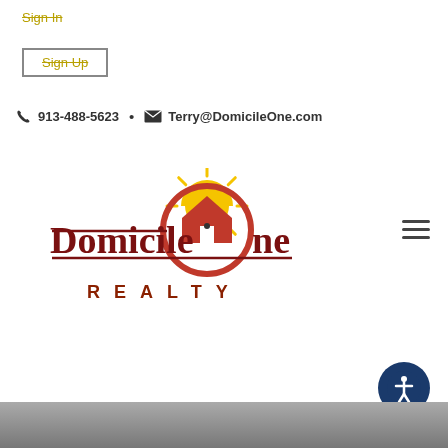Sign In
Sign Up
913-488-5623 • Terry@DomicileOne.com
[Figure (logo): Domicile One Realty logo with sun and house graphic]
[Figure (other): Hamburger menu icon (three horizontal lines)]
[Figure (other): Accessibility button icon (person in circle)]
[Figure (photo): Background photo of outdoor scene at bottom of page]